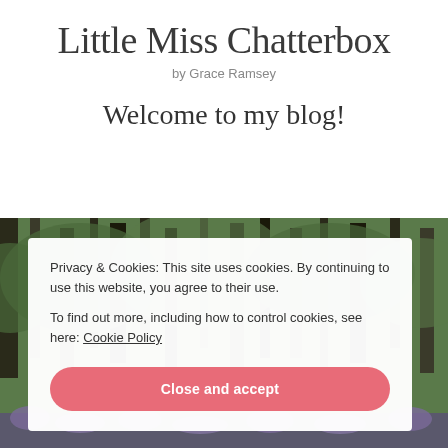Little Miss Chatterbox
by Grace Ramsey
Welcome to my blog!
[Figure (photo): Outdoor nature scene with trees and green foliage in background, purple flowers at bottom]
Privacy & Cookies: This site uses cookies. By continuing to use this website, you agree to their use.
To find out more, including how to control cookies, see here: Cookie Policy
Close and accept